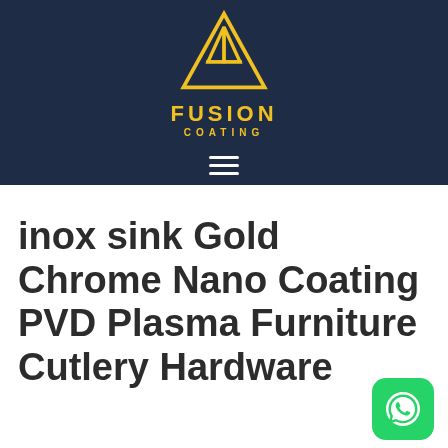[Figure (logo): Fusion Coating logo: yellow geometric triangle/mountain mark above the words FUSION and COATING on a dark navy background, with a hamburger menu icon below]
inox sink Gold Chrome Nano Coating PVD Plasma Furniture Cutlery Hardware